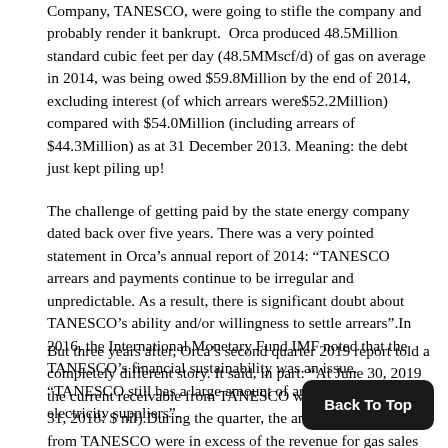Company, TANESCO, were going to stifle the company and probably render it bankrupt. Orca produced 48.5Million standard cubic feet per day (48.5MMscf/d) of gas on average in 2014, was being owed $59.8Million by the end of 2014, excluding interest (of which arrears were$52.2Million) compared with $54.0Million (including arrears of $44.3Million) as at 31 December 2013. Meaning: the debt just kept piling up!
The challenge of getting paid by the state energy company dated back over five years. There was a very pointed statement in Orca's annual report of 2014: “TANESCO arrears and payments continue to be irregular and unpredictable. As a result, there is significant doubt about TANESCO’s ability and/or willingness to settle arrears”.In 2016, the International Monetary Fund IMF noted that the TANESCO’s financial sustainability was an issue. “TANESCO still has a large amount of arrears to gas and electricity suppliers”.
But three years after, Orca’s second quarter 2019 report told a completely different story. It said, in part: “At June 30, 2019 the current receivable from TANESCO was $ nil (December 31, 2018: $ nil).During the quarter, the amounts received from TANESCO were in excess of the revenue for gas sales to TANESCO, resulting in a reversal of the provision for doubtful account of $3.5Million in Q2